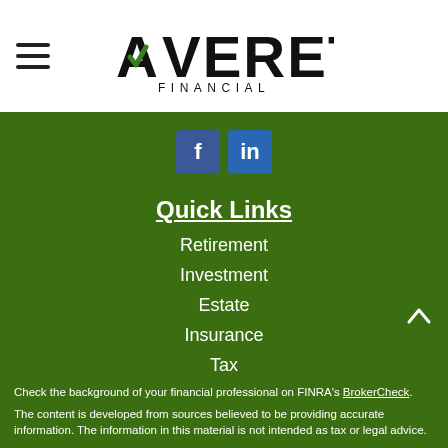[Figure (logo): Averett Financial logo with checkmark in the A and 'FINANCIAL' subtitle]
[Figure (infographic): Social media icons: Facebook (f) and LinkedIn (in)]
Quick Links
Retirement
Investment
Estate
Insurance
Tax
Money
Lifestyle
All Articles
All Videos
All Calculators
All Presentations
Check the background of your financial professional on FINRA's BrokerCheck.
The content is developed from sources believed to be providing accurate information. The information in this material is not intended as tax or legal advice.